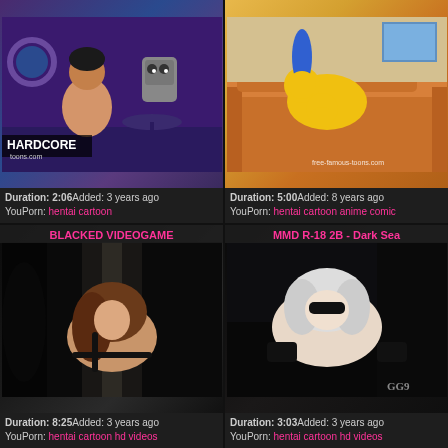[Figure (screenshot): Animated cartoon thumbnail - Futurama characters in explicit scene, purple/blue room background, text 'HARDCORE' in bottom left corner]
Duration: 2:06Added: 3 years ago
YouPorn: hentai cartoon
[Figure (screenshot): Animated cartoon thumbnail - Simpsons characters in explicit scene on orange couch, watermark 'free-famous-toons.com']
Duration: 5:00Added: 8 years ago
YouPorn: hentai cartoon anime comic
BLACKED VIDEOGAME
[Figure (screenshot): 3D rendered explicit scene with realistic female character with brown hair, dark background]
Duration: 8:25Added: 3 years ago
YouPorn: hentai cartoon hd videos
MMD R-18 2B - Dark Sea
[Figure (screenshot): 3D rendered explicit scene with white/silver haired female character, dark background with geometric elements]
Duration: 3:03Added: 3 years ago
YouPorn: hentai cartoon hd videos